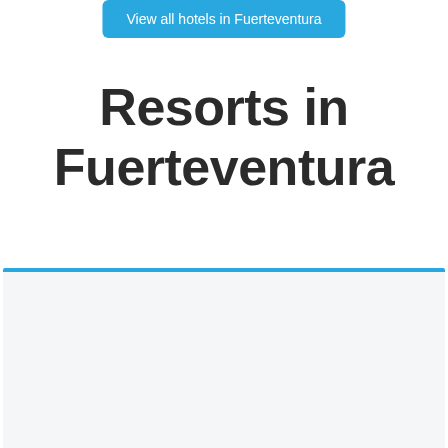View all hotels in Fuerteventura
Resorts in Fuerteventura
[Figure (other): A light blue-bordered content card area with a pale blue-grey background, partially visible at the bottom of the page]